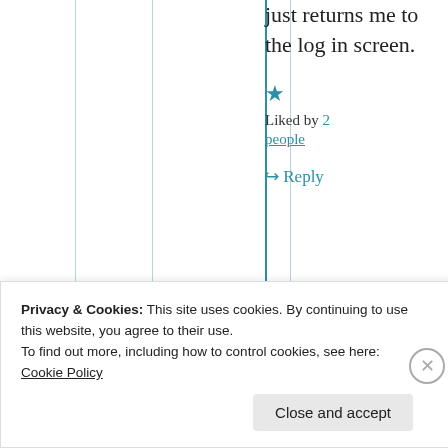just returns me to the log in screen.
★ Liked by 2 people
↪ Reply
[Figure (screenshot): Nested comment box with partial avatar image at bottom]
Privacy & Cookies: This site uses cookies. By continuing to use this website, you agree to their use. To find out more, including how to control cookies, see here: Cookie Policy
Close and accept